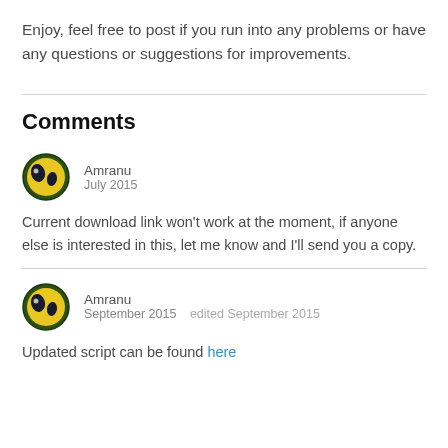Enjoy, feel free to post if you run into any problems or have any questions or suggestions for improvements.
Comments
Amranu
July 2015
Current download link won't work at the moment, if anyone else is interested in this, let me know and I'll send you a copy.
Amranu
September 2015   edited September 2015
Updated script can be found here